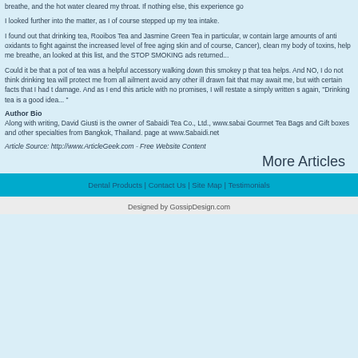breathe, and the hot water cleared my throat. If nothing else, this experience go
I looked further into the matter, as I of course stepped up my tea intake.
I found out that drinking tea, Rooibos Tea and Jasmine Green Tea in particular, w... contain large amounts of anti oxidants to fight against the increased level of free... aging skin and of course, Cancer), clean my body of toxins, help me breathe, an... looked at this list, and the STOP SMOKING ads returned...
Could it be that a pot of tea was a helpful accessory walking down this smokey p... that tea helps. And NO, I do not think drinking tea will protect me from all ailments... avoid any other ill drawn fait that may await me, but with certain facts that I had t... damage. And as I end this article with no promises, I will restate a simply written s... again, "Drinking tea is a good idea... "
Author Bio
Along with writing, David Giusti is the owner of Sabaidi Tea Co., Ltd., www.sabai... Gourmet Tea Bags and Gift boxes and other specialties from Bangkok, Thailand.... page at www.Sabaidi.net
Article Source: http://www.ArticleGeek.com - Free Website Content
More Articles
Dental Products | Contact Us | Site Map | Testimonials
Designed by GossipDesign.com